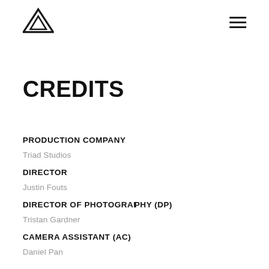Logo and navigation menu
CREDITS
PRODUCTION COMPANY
Triad Studios
DIRECTOR
Justin Fouts
DIRECTOR OF PHOTOGRAPHY (DP)
Tristan Gardner
CAMERA ASSISTANT (AC)
Daniel Pan